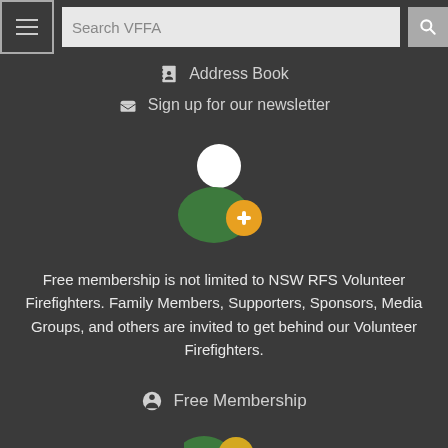Search VFFA (search bar with menu button)
Address Book
Sign up for our newsletter
[Figure (illustration): Add user / member icon: white circle (head) over green body shape with an orange plus sign badge]
Free membership is not limited to NSW RFS Volunteer Firefighters. Family Members, Supporters, Sponsors, Media Groups, and others are invited to get behind our Volunteer Firefighters.
Free Membership
[Figure (illustration): Partial icon at bottom: green shape with yellow/gold dollar sign circle, partially visible]